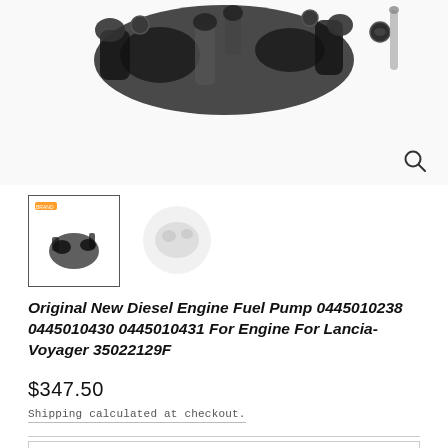[Figure (photo): Dark mechanical fuel pump components, multiple injectors/parts shown against white background, top portion of product image]
[Figure (photo): Thumbnail image 1: small product photo showing fuel pump components with orange logo mark, bordered with solid rectangle]
[Figure (photo): Thumbnail image 2: faded/watermarked circular product image placeholder]
Original New Diesel Engine Fuel Pump 0445010238 0445010430 0445010431 For Engine For Lancia-Voyager 35022129F
$347.50
Shipping calculated at checkout.
Add to cart